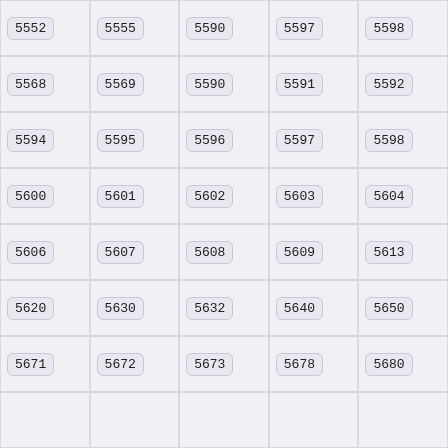5552
5555
5590
5597
5598
5568
5569
5590
5591
5592
5594
5595
5596
5597
5598
5600
5601
5602
5603
5604
5606
5607
5608
5609
5613
5620
5630
5632
5640
5650
5671
5672
5673
5678
5680